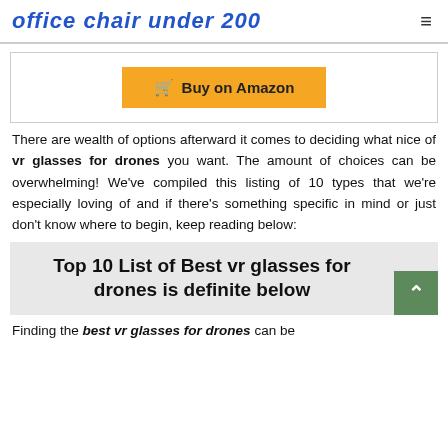office chair under 200
[Figure (other): Buy on Amazon button with shopping cart icon, orange background]
There are wealth of options afterward it comes to deciding what nice of vr glasses for drones you want. The amount of choices can be overwhelming! We've compiled this listing of 10 types that we're especially loving of and if there's something specific in mind or just don't know where to begin, keep reading below:
Top 10 List of Best vr glasses for drones is definite below
Finding the best vr glasses for drones can be